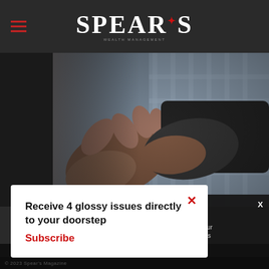SPEAR'S
[Figure (photo): Close-up photograph of two people shaking hands, one person wearing a dark suit. Business handshake on a blurred background.]
Receive 4 glossy issues directly to your doorstep
Subscribe
scale's
es.
continue using our
all cookies on this
Continue   Learn more